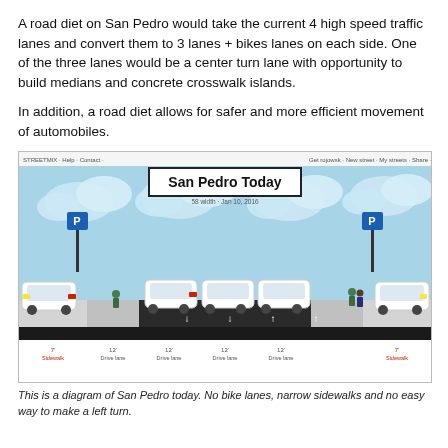A road diet on San Pedro would take the current 4 high speed traffic lanes and convert them to 3 lanes + bikes lanes on each side. One of the three lanes would be a center turn lane with opportunity to build medians and concrete crosswalk islands.
In addition, a road diet allows for safer and more efficient movement of automobiles.
[Figure (infographic): Streetmix diagram titled 'San Pedro Today' showing a cross-section street view with parking lanes on each side, four drive lanes in the center, pedestrians, parked cars, and no bike lanes. Labels show sidewalk (7'), four Drive Lane (12') sections, and sidewalk (7'). Small text reads '58 width • Jan 10, 2016'.]
This is a diagram of San Pedro today. No bike lanes, narrow sidewalks and no easy way to make a left turn.